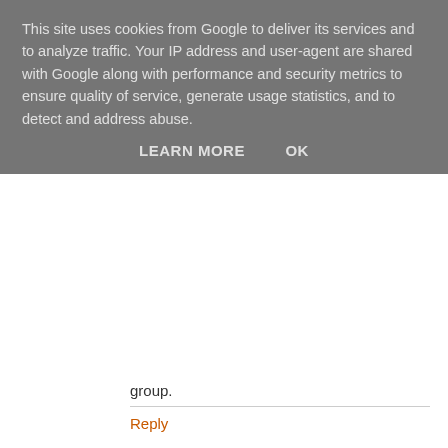This site uses cookies from Google to deliver its services and to analyze traffic. Your IP address and user-agent are shared with Google along with performance and security metrics to ensure quality of service, generate usage statistics, and to detect and address abuse.
LEARN MORE   OK
group.
Reply
Steven 12 February 2019 at 13:43
item seeding (items are conveyed all the more broadly with expectations of verifying a limited time advantage and commencing a pattern); and, trade connections (person famous people consent to take an interest in custom projects in return for significant items). tom brady net worth
Reply